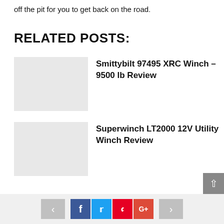off the pit for you to get back on the road.
RELATED POSTS:
Smittybilt 97495 XRC Winch – 9500 lb Review
Superwinch LT2000 12V Utility Winch Review